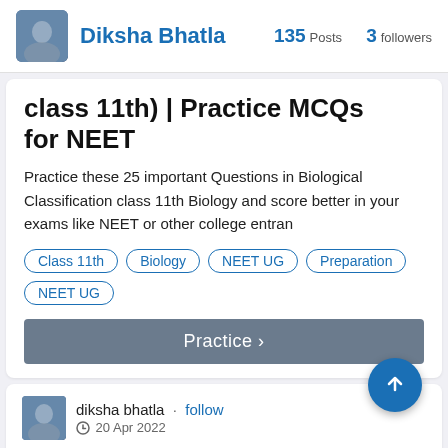Diksha Bhatla  135 Posts  3 followers
class 11th) | Practice MCQs for NEET
Practice these 25 important Questions in Biological Classification class 11th Biology and score better in your exams like NEET or other college entran
Class 11th
Biology
NEET UG Preparation
NEET UG
Practice ›
diksha bhatla · follow
20 Apr 2022